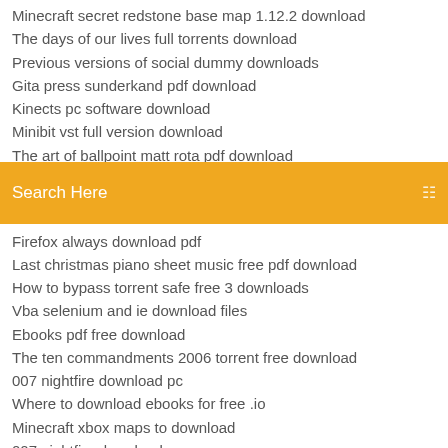Minecraft secret redstone base map 1.12.2 download
The days of our lives full torrents download
Previous versions of social dummy downloads
Gita press sunderkand pdf download
Kinects pc software download
Minibit vst full version download
The art of ballpoint matt rota pdf download
[Figure (screenshot): Orange search bar with text 'Search Here' and a menu icon on the right]
Firefox always download pdf
Last christmas piano sheet music free pdf download
How to bypass torrent safe free 3 downloads
Vba selenium and ie download files
Ebooks pdf free download
The ten commandments 2006 torrent free download
007 nightfire download pc
Where to download ebooks for free .io
Minecraft xbox maps to download
007 nightfire download pc